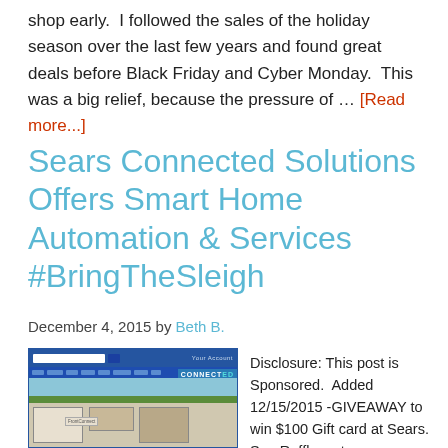shop early.  I followed the sales of the holiday season over the last few years and found great deals before Black Friday and Cyber Monday.  This was a big relief, because the pressure of … [Read more...]
Sears Connected Solutions Offers Smart Home Automation & Services #BringTheSleigh
December 4, 2015 by Beth B.
[Figure (screenshot): Screenshot of Sears Connected Solutions website showing a home automation floor plan view with rooms]
Disclosure: This post is Sponsored.  Added 12/15/2015 -GIVEAWAY to win $100 Gift card at Sears. See Rafflecopter